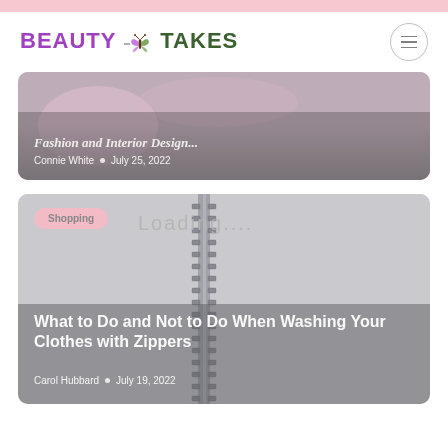Beauty Takes
[Figure (screenshot): Partial article card at top showing blurred cosmetics image with italic title text partially visible and author/date metadata: Connie White • July 25, 2022]
[Figure (screenshot): Article card showing zipper/fabric close-up photo with Shopping category tag, Loading.... overlay text, article title 'What to Do and Not to Do When Washing Your Clothes with Zippers', author Carol Hubbard, date July 19, 2022]